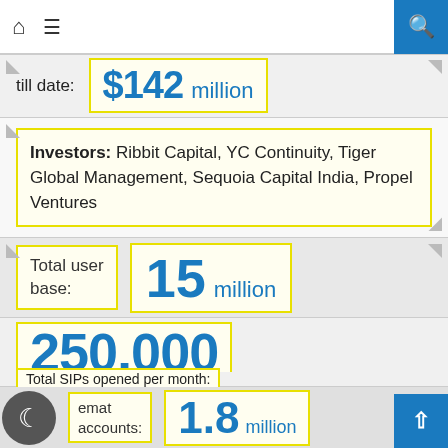till date: $142 million
Investors: Ribbit Capital, YC Continuity, Tiger Global Management, Sequoia Capital India, Propel Ventures
Total user base: 15 million
250,000
Total SIPs opened per month:
demat accounts: 1.8 million